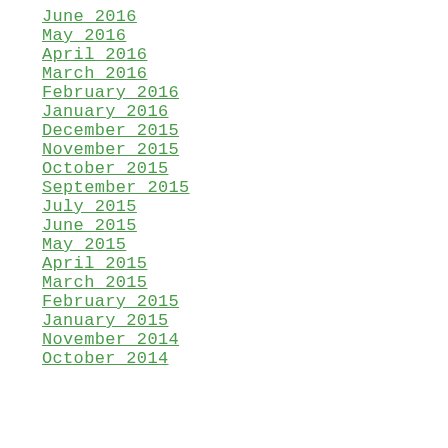June 2016
May 2016
April 2016
March 2016
February 2016
January 2016
December 2015
November 2015
October 2015
September 2015
July 2015
June 2015
May 2015
April 2015
March 2015
February 2015
January 2015
November 2014
October 2014